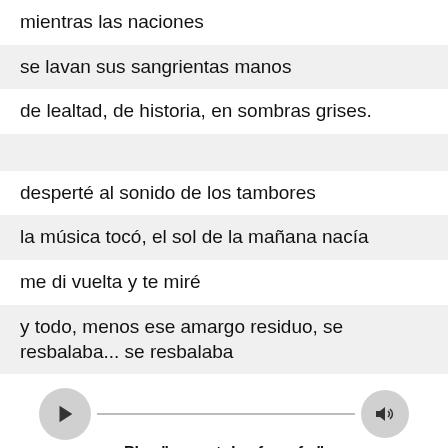mientras las naciones
se lavan sus sangrientas manos
de lealtad, de historia, en sombras grises.
desperté al sonido de los tambores
la música tocó, el sol de la mañana nacía
me di vuelta y te miré
y todo, menos ese amargo residuo, se resbalaba... se resbalaba
[Figure (other): Music player widget: Play button on left, horizontal line, volume button on right. Text: Play "a great day from f..." on Apple Music]
pink floyd
Video